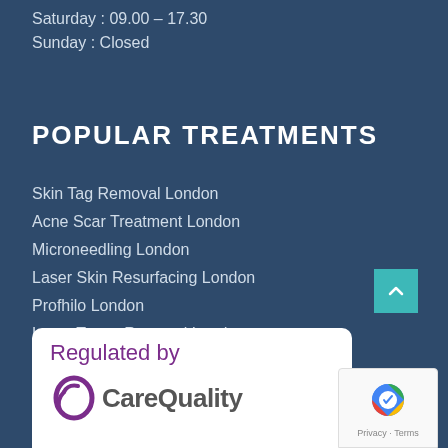Saturday : 09.00 – 17.30
Sunday : Closed
POPULAR TREATMENTS
Skin Tag Removal London
Acne Scar Treatment London
Microneedling London
Laser Skin Resurfacing London
Profhilo London
Laser Tattoo Removal London
[Figure (logo): CareQuality Commission 'Regulated by' badge with purple logo and text]
[Figure (logo): reCAPTCHA badge with Google logo and Privacy · Terms text]